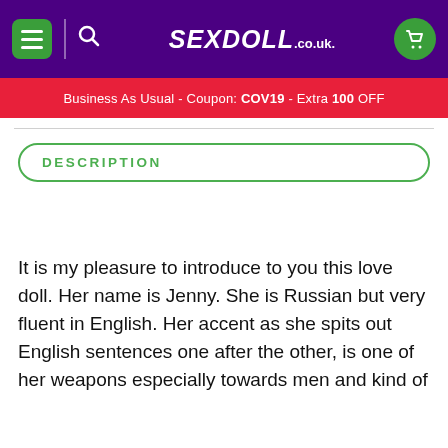SEXDOLL.co.uk
Business As Usual - Coupon: COV19 - Extra 100 OFF
DESCRIPTION
It is my pleasure to introduce to you this love doll. Her name is Jenny. She is Russian but very fluent in English. Her accent as she spits out English sentences one after the other, is one of her weapons especially towards men and kind of